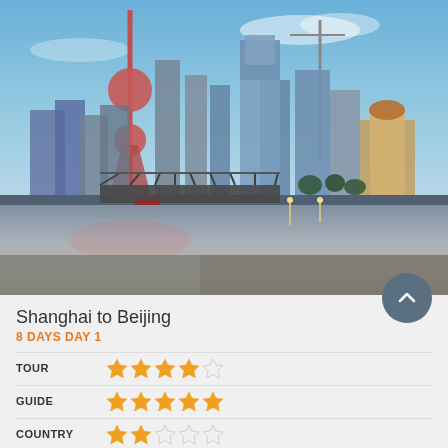[Figure (photo): Shanghai skyline at dusk with Pudong skyscrapers including Oriental Pearl Tower, reflected in the Huangpu River with a historic bridge in the foreground]
Shanghai to Beijing
8 DAYS DAY 1
| Category | Rating |
| --- | --- |
| TOUR | 4 out of 5 stars |
| GUIDE | 5 out of 5 stars |
| COUNTRY | 2.5 out of 5 stars |